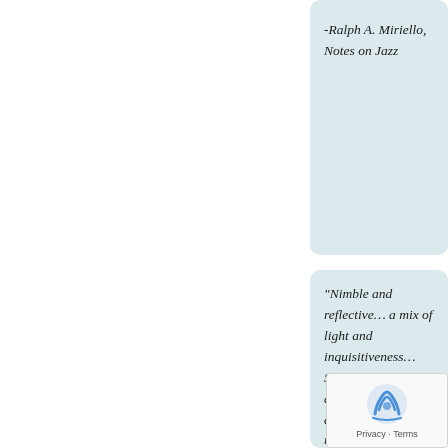-Ralph A. Miriello, Notes on Jazz
“Nimble and reflective… a mix of light and inquisitiveness… Solo albums give away the heart of an artist, and this release displays worth